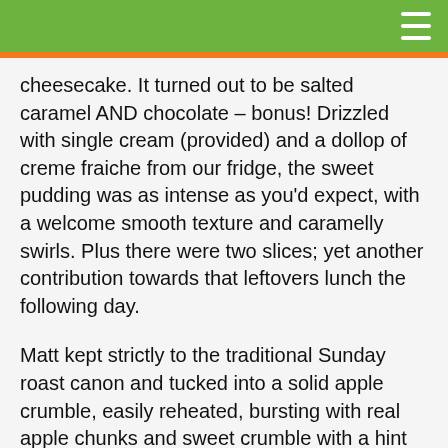[Navigation bar with hamburger menu]
cheesecake. It turned out to be salted caramel AND chocolate – bonus! Drizzled with single cream (provided) and a dollop of creme fraiche from our fridge, the sweet pudding was as intense as you'd expect, with a welcome smooth texture and caramelly swirls. Plus there were two slices; yet another contribution towards that leftovers lunch the following day.
Matt kept strictly to the traditional Sunday roast canon and tucked into a solid apple crumble, easily reheated, bursting with real apple chunks and sweet crumble with a hint of toffee flavour. Of course, this was all smothered with a ration of hot and creamy custard. Comfort food as it's meant to be served.
Much like the Hungry Bear's takeaway roast, the White Lion served us epic amounts of food at a competitive price which included delivery. The meal gave us an authentic pub Sunday lunch feeling – insofar as this can be recreated in the home. Stand-out elements were the roast potatoes, and